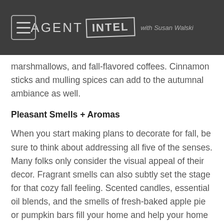AGENT INTEL with Susan Walski
marshmallows, and fall-flavored coffees. Cinnamon sticks and mulling spices can add to the autumnal ambiance as well.
Pleasant Smells + Aromas
When you start making plans to decorate for fall, be sure to think about addressing all five of the senses. Many folks only consider the visual appeal of their decor. Fragrant smells can also subtly set the stage for that cozy fall feeling. Scented candles, essential oil blends, and the smells of fresh-baked apple pie or pumpkin bars fill your home and help your home tell the story of the season. The latter also makes for yummy treats or snacks for guests or family members.
A Peaceful, Easy Feeling